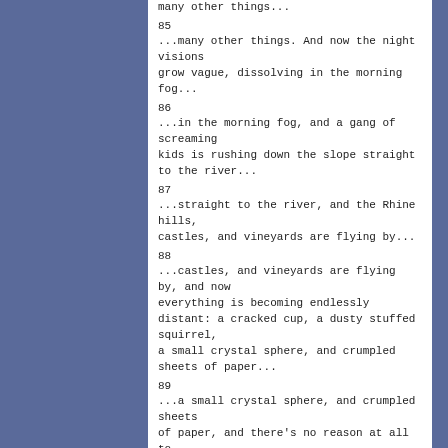many other things...
85
...many other things. And now the night visions grow vague, dissolving in the morning fog...
86
...in the morning fog, and a gang of screaming kids is rushing down the slope straight to the river...
87
...straight to the river, and the Rhine hills, castles, and vineyards are flying by...
88
...castles, and vineyards are flying by, and now everything is becoming endlessly distant: a cracked cup, a dusty stuffed squirrel, a small crystal sphere, and crumpled sheets of paper...
89
...a small crystal sphere, and crumpled sheets of paper, and there's no reason at all to hit the drum, which won't resound anyway because it's dead...
90
...won't resound anyway because it's dead, and so... the long row scrambling in and zing...